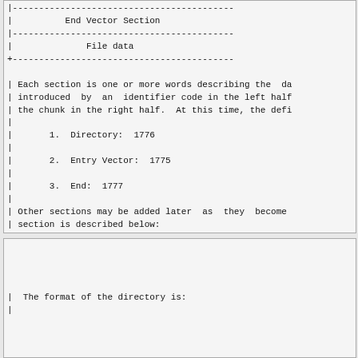|------------------------------------------
|          End Vector Section
|------------------------------------------
|              File data
+------------------------------------------

Each section is one or more words describing the da
introduced  by  an  identifier code in the left half
the chunk in the right half.  At this time, the defi

   1.  Directory:  1776

   2.  Entry Vector:  1775

   3.  End:  1777

Other sections may be added later  as  they  become
section is described below:

The save file starts with a directory of the pages o
of data are stored on page boundaries in exactly the
loaded into the virtual address space.  There is no
within pages;  only entire pages will be compressed.
The format of the directory is: